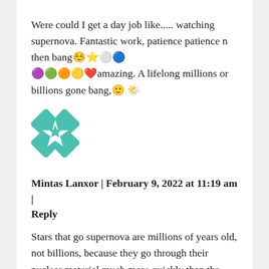Were could I get a day job like..... watching supernova. Fantastic work, patience patience n then bang☺️⭐⚪️🔵💜💚💟💛❤️amazing. A lifelong millions or billions gone bang,😊🌤️
[Figure (illustration): Teal/green geometric quilt-pattern avatar icon with white star and triangular shapes]
Mintas Lanxor | February 9, 2022 at 11:19 am | Reply
Stars that go supernova are millions of years old, not billions, because they go through their nuclear material much more quickly than the stars of the size of our